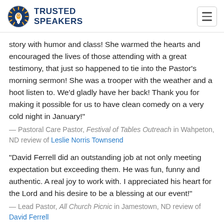TRUSTED SPEAKERS
story with humor and class! She warmed the hearts and encouraged the lives of those attending with a great testimony, that just so happened to tie into the Pastor's morning sermon! She was a trooper with the weather and a hoot listen to. We'd gladly have her back! Thank you for making it possible for us to have clean comedy on a very cold night in January!"
— Pastoral Care Pastor, Festival of Tables Outreach in Wahpeton, ND review of Leslie Norris Townsend
"David Ferrell did an outstanding job at not only meeting expectation but exceeding them. He was fun, funny and authentic. A real joy to work with. I appreciated his heart for the Lord and his desire to be a blessing at our event!"
— Lead Pastor, All Church Picnic in Jamestown, ND review of David Ferrell